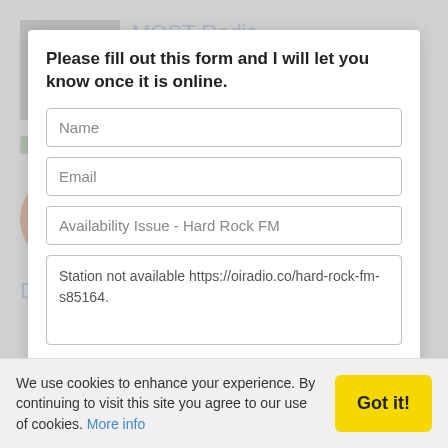Please fill out this form and I will let you know once it is online.
Name
Email
Availability Issue - Hard Rock FM
Station not available https://oiradio.co/hard-rock-fm-s85164.
* All fields are required.
We use cookies to enhance your experience. By continuing to visit this site you agree to our use of cookies. More info